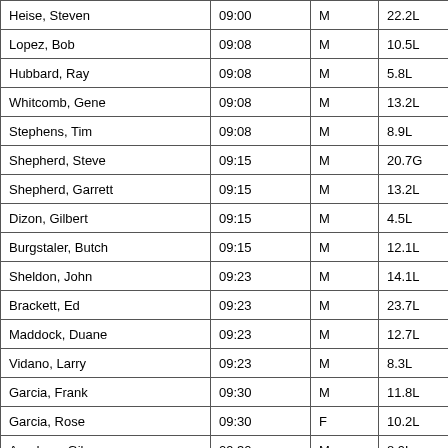| Heise, Steven | 09:00 | M | 22.2L |
| Lopez, Bob | 09:08 | M | 10.5L |
| Hubbard, Ray | 09:08 | M | 5.8L |
| Whitcomb, Gene | 09:08 | M | 13.2L |
| Stephens, Tim | 09:08 | M | 8.9L |
| Shepherd, Steve | 09:15 | M | 20.7G |
| Shepherd, Garrett | 09:15 | M | 13.2L |
| Dizon, Gilbert | 09:15 | M | 4.5L |
| Burgstaler, Butch | 09:15 | M | 12.1L |
| Sheldon, John | 09:23 | M | 14.1L |
| Brackett, Ed | 09:23 | M | 23.7L |
| Maddock, Duane | 09:23 | M | 12.7L |
| Vidano, Larry | 09:23 | M | 8.3L |
| Garcia, Frank | 09:30 | M | 11.8L |
| Garcia, Rose | 09:30 | F | 10.2L |
| Apodaca, Gil | 09:30 | M | 8.9L |
| Garcia, Lisa | 09:30 | F | 14.5L |
| Astudillo, Julian | 09:38 | M | 16.7L |
| Garcia, Ray | 09:38 | M | 10.8L |